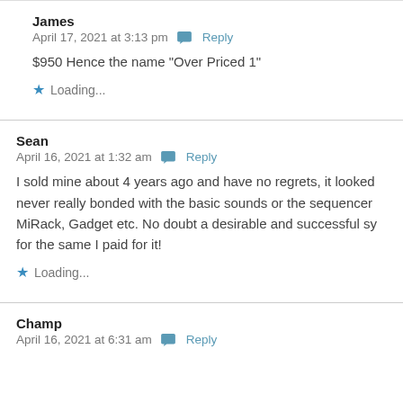James
April 17, 2021 at 3:13 pm  Reply
$950 Hence the name “Over Priced 1”
Loading...
Sean
April 16, 2021 at 1:32 am  Reply
I sold mine about 4 years ago and have no regrets, it looked never really bonded with the basic sounds or the sequencer MiRack, Gadget etc. No doubt a desirable and successful sy for the same I paid for it!
Loading...
Champ
April 16, 2021 at 6:31 am  Reply